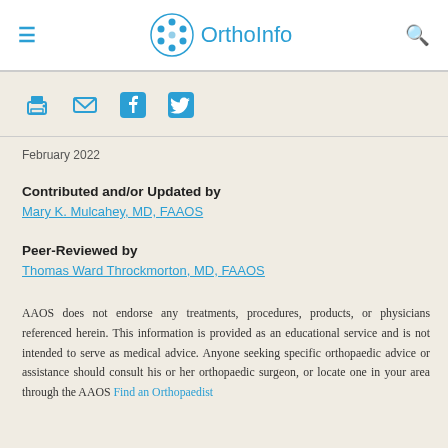OrthoInfo
February 2022
Contributed and/or Updated by
Mary K. Mulcahey, MD, FAAOS
Peer-Reviewed by
Thomas Ward Throckmorton, MD, FAAOS
AAOS does not endorse any treatments, procedures, products, or physicians referenced herein. This information is provided as an educational service and is not intended to serve as medical advice. Anyone seeking specific orthopaedic advice or assistance should consult his or her orthopaedic surgeon, or locate one in your area through the AAOS Find an Orthopaedist